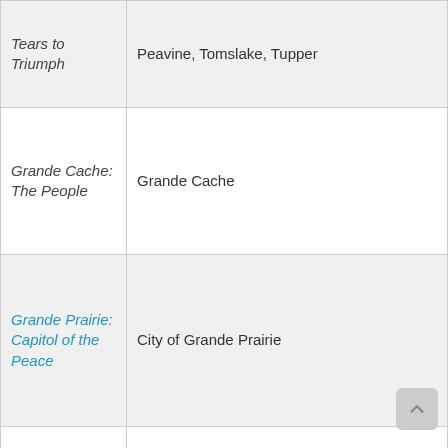| Book Title | Communities/Places |
| --- | --- |
| Tears to Triumph | Peavine, Tomslake, Tupper |
| Grande Cache: The People | Grande Cache |
| Grande Prairie: Capitol of the Peace | City of Grande Prairie |
| Grooming the ... | Belloy, Heart Valley, Lassiter, Mersey, Steele, Wanham, West Vale |